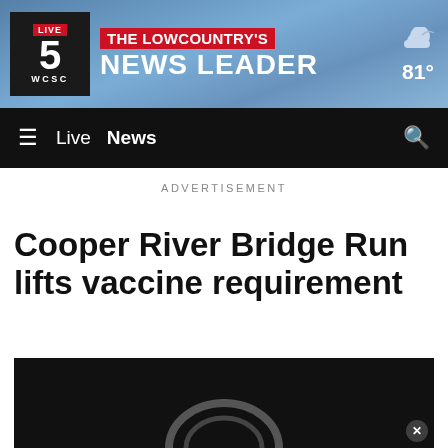[Figure (logo): WCSC Live 5 news channel logo with red and dark background]
THE LOWCOUNTRY'S NEWS LEADER  81°
[Figure (infographic): Navigation bar with hamburger menu, Live, News links and search icon on black background]
ADVERTISEMENT
Cooper River Bridge Run lifts vaccine requirement
[Figure (screenshot): Video player thumbnail showing dark background with partial circular graphic]